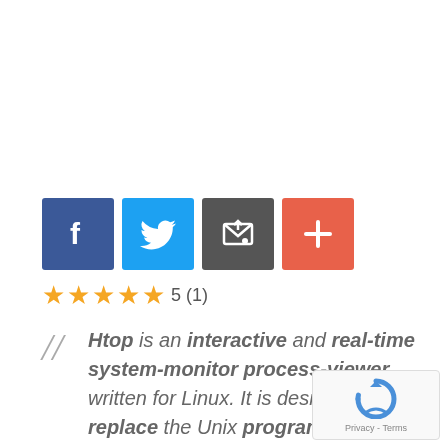[Figure (infographic): Four social sharing buttons: Facebook (blue), Twitter (light blue), Email/share (dark grey), and Plus/add (red-orange), each as a square icon button.]
★★★★★ 5 (1)
Htop is an interactive and real-time system-monitor process-viewer written for Linux. It is designed to replace the Unix program top.
[Figure (logo): Google reCAPTCHA logo with Privacy and Terms text]